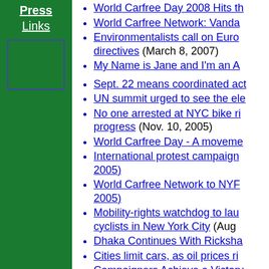Press
Links
[Figure (other): Blue-bordered rectangle/box on green sidebar]
World Carfree Day 2008 Hits th...
World Carfree Network: Vanda...
Environmentalists call on Euro... directives (March 8, 2007)
My Name is Jane and I'm an A...
Sept. 22 means coordinated act...
UN summit urged to see the ele...
No one arrested at NYC bike ri... progress (Nov. 10, 2005)
World Carfree Day - A moveme...
International protest campaign ... 2005)
World Carfree Network to NYF... 2005)
Mobility-rights watchdog to lau... cyclists in New York City (Aug...
Dhaka Continues With Ricksha...
Cities limit cars, as oil prices ri...
Campaigners Achieve a Victory... 2005)
EC Consultation Responses
WCN... the E...